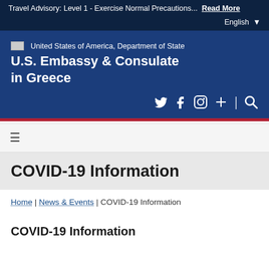Travel Advisory: Level 1 - Exercise Normal Precautions... Read More   English ▼
[Figure (logo): United States of America, Department of State seal/flag placeholder followed by site title: U.S. Embassy & Consulate in Greece]
[Figure (infographic): Social media icons: Twitter, Facebook, Instagram, plus/add icon, separator, search icon]
≡ (hamburger menu icon)
COVID-19 Information
Home | News & Events | COVID-19 Information
COVID-19 Information